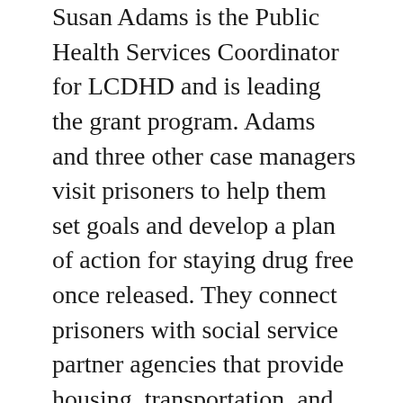Susan Adams is the Public Health Services Coordinator for LCDHD and is leading the grant program. Adams and three other case managers visit prisoners to help them set goals and develop a plan of action for staying drug free once released. They connect prisoners with social service partner agencies that provide housing, transportation, and jobs to prisoners re-entering society.
Once released from prison, there is a high risk that those with a substance use disorder will go back to using, “because that craving does not go away,” explained Adams. “You are always going to be in recovery. That doesn’t mean you won’t go on to lead normal, everyday lives, but the things that trigger you will always be there.” Because of this reality, the number one priority for the case managers is to set individuals up with rehabilitation immediately upon release, where